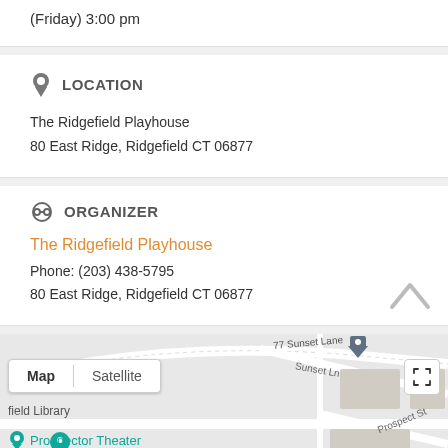(Friday) 3:00 pm
LOCATION
The Ridgefield Playhouse
80 East Ridge, Ridgefield CT 06877
ORGANIZER
The Ridgefield Playhouse
Phone: (203) 438-5795
80 East Ridge, Ridgefield CT 06877
[Figure (map): Google Maps view showing the area around The Ridgefield Playhouse with map/satellite toggle, showing Sunset Lane, Prospect St, Prospector Theater marker, and field Library label.]